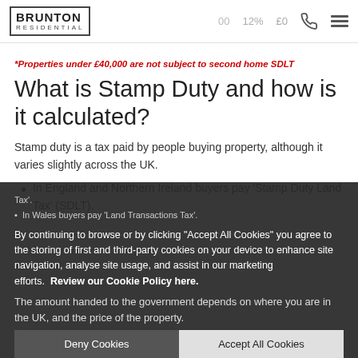BRUNTON RESIDENTIAL — 12% £0
*Properties under £40,000 are not subject to second home SDLT
What is Stamp Duty and how is it calculated?
Stamp duty is a tax paid by people buying property, although it varies slightly across the UK.
In England and Northern Ireland buyers pay 'Stamp Duty Land Tax' (SDLT).
In Wales buyers pay 'Land Transactions Tax'.
The amount handed to the government depends on where you are in the UK, and the price of the property.
By continuing to browse or by clicking "Accept All Cookies" you agree to the storing of first and third-party cookies on your device to enhance site navigation, analyse site usage, and assist in our marketing efforts. Review our Cookie Policy here.